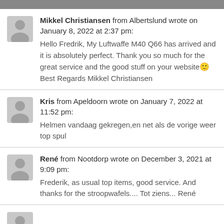Mikkel Christiansen from Albertslund wrote on January 8, 2022 at 2:37 pm: Hello Fredrik, My Luftwaffe M40 Q66 has arrived and it is absolutely perfect. Thank you so much for the great service and the good stuff on your website 🙂 Best Regards Mikkel Christiansen
Kris from Apeldoorn wrote on January 7, 2022 at 11:52 pm: Helmen vandaag gekregen,en net als de vorige weer top spul
René from Nootdorp wrote on December 3, 2021 at 9:09 pm: Frederik, as usual top items, good service. And thanks for the stroopwafels.... Tot ziens... René